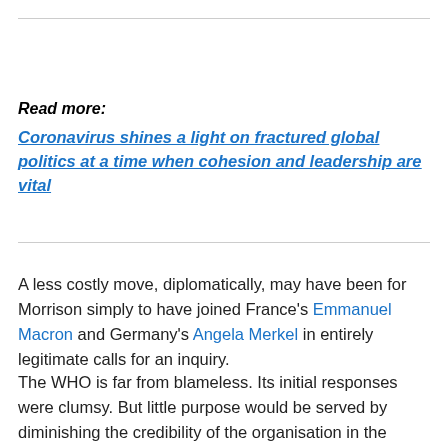Read more:
Coronavirus shines a light on fractured global politics at a time when cohesion and leadership are vital
A less costly move, diplomatically, may have been for Morrison simply to have joined France's Emmanuel Macron and Germany's Angela Merkel in entirely legitimate calls for an inquiry.
The WHO is far from blameless. Its initial responses were clumsy. But little purpose would be served by diminishing the credibility of the organisation in the middle of a